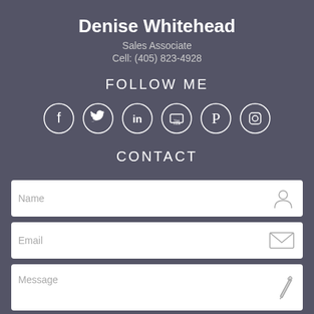Denise Whitehead
Sales Associate
Cell: (405) 823-4928
FOLLOW ME
[Figure (infographic): Six social media icons in circles: Facebook, Twitter, LinkedIn, YouTube, Pinterest, Instagram]
CONTACT
[Figure (infographic): Contact form with Name field (person icon), Email field (envelope icon), Message field (pencil icon), and SEND button]